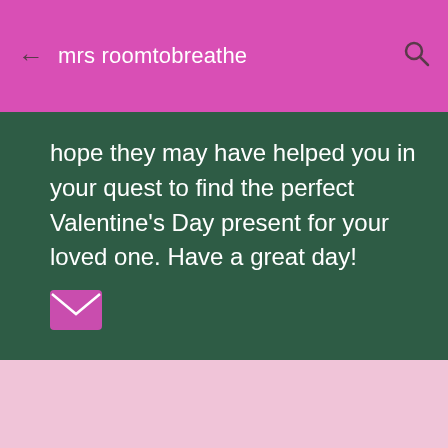mrs roomtobreathe
hope they may have helped you in your quest to find the perfect Valentine's Day present for your loved one. Have a great day!
[Figure (other): Email envelope icon (pink/magenta)]
[Figure (other): Share icon (pink/magenta)]
Enter comment